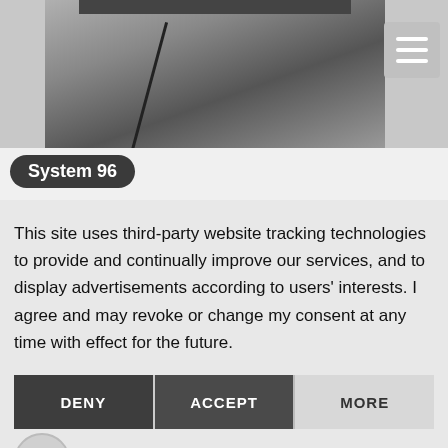[Figure (photo): Photograph of a structural ceiling or roof interior, showing concrete or steel beams, viewed from below. Appears grey with diagonal structural elements.]
System 96
This site uses third-party website tracking technologies to provide and continually improve our services, and to display advertisements according to users' interests. I agree and may revoke or change my consent at any time with effect for the future.
DENY | ACCEPT | MORE
Powered by usercentrics & eRecht24